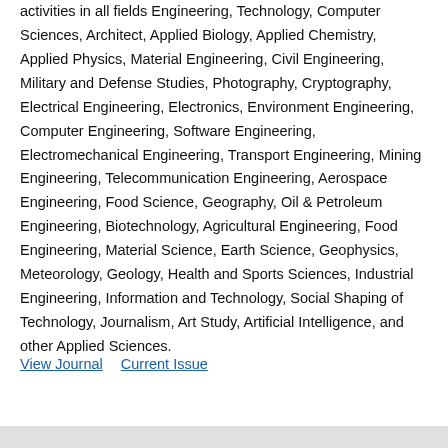activities in all fields Engineering, Technology, Computer Sciences, Architect, Applied Biology, Applied Chemistry, Applied Physics, Material Engineering, Civil Engineering, Military and Defense Studies, Photography, Cryptography, Electrical Engineering, Electronics, Environment Engineering, Computer Engineering, Software Engineering, Electromechanical Engineering, Transport Engineering, Mining Engineering, Telecommunication Engineering, Aerospace Engineering, Food Science, Geography, Oil & Petroleum Engineering, Biotechnology, Agricultural Engineering, Food Engineering, Material Science, Earth Science, Geophysics, Meteorology, Geology, Health and Sports Sciences, Industrial Engineering, Information and Technology, Social Shaping of Technology, Journalism, Art Study, Artificial Intelligence, and other Applied Sciences.
View Journal   Current Issue